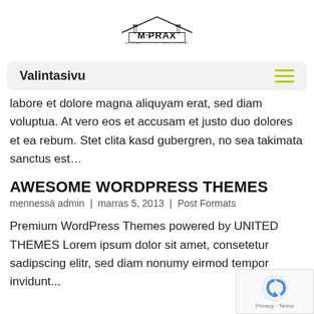[Figure (logo): M-PRAX logo with building/roof graphic and tagline text]
Valintasivu
labore et dolore magna aliquyam erat, sed diam voluptua. At vero eos et accusam et justo duo dolores et ea rebum. Stet clita kasd gubergren, no sea takimata sanctus est…
AWESOME WORDPRESS THEMES
mennessä admin  |  marras 5, 2013  |  Post Formats
Premium WordPress Themes powered by UNITED THEMES Lorem ipsum dolor sit amet, consetetur sadipscing elitr, sed diam nonumy eirmod tempor invidunt...